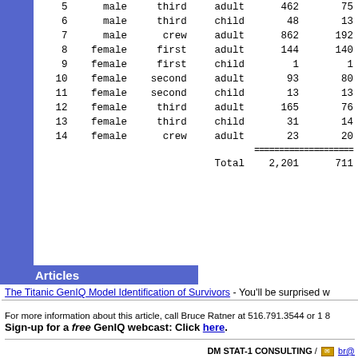|  | sex | class | age | n | survived |
| --- | --- | --- | --- | --- | --- |
| 5 | male | third | adult | 462 | 75 |
| 6 | male | third | child | 48 | 13 |
| 7 | male | crew | adult | 862 | 192 |
| 8 | female | first | adult | 144 | 140 |
| 9 | female | first | child | 1 | 1 |
| 10 | female | second | adult | 93 | 80 |
| 11 | female | second | child | 13 | 13 |
| 12 | female | third | adult | 165 | 76 |
| 13 | female | third | child | 31 | 14 |
| 14 | female | crew | adult | 23 | 20 |
| =================== |  |  |  |  |  |
| Total |  |  |  | 2,201 | 711 |
Articles
The Titanic GenIQ Model Identification of Survivors - You'll be surprised w
For more information about this article, call Bruce Ratner at 516.791.3544 or 1 8
Sign-up for a free GenIQ webcast: Click here.
DM STAT-1 CONSULTING / br@
574 Flanders Drive / North Woodmere, N
Voice 1-516-791-3544 / Fax 1-516-
Toll Free 1 800 DM STAT-